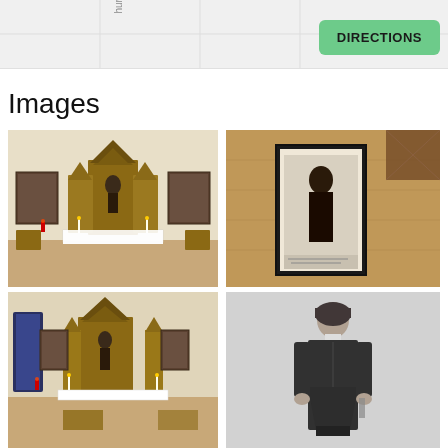[Figure (screenshot): Top bar showing partial map with 'hurch St' label rotated vertically and a green DIRECTIONS button on the right]
Images
[Figure (photo): Interior of a chapel showing a Gothic wooden altar with a religious statue in the center, flanked by religious paintings on the walls, candles and a small white figurine on the altar, and chairs on either side]
[Figure (photo): A framed portrait photograph of a religious figure (a friar or monk) displayed against a wooden background with a decorative pattern]
[Figure (photo): Another view of the same chapel interior from slightly different angle, showing the Gothic altar, paintings, and candles]
[Figure (photo): Black and white historical photograph of a woman in a long dark dress, standing upright, holding something in her hands]